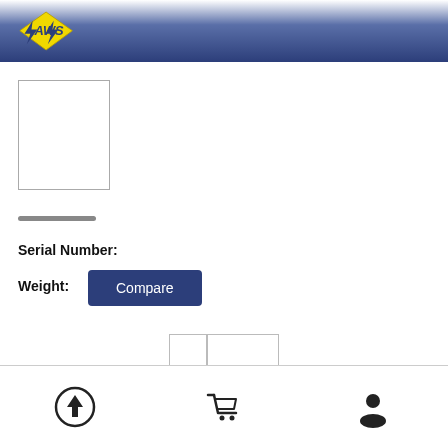AWS logo header bar
[Figure (other): Product image placeholder box (empty white rectangle with gray border)]
Serial Number:
Weight:
[Figure (other): Compare button (dark blue, white text 'Compare')]
[Figure (other): Image carousel with left arrow, center image box with divider, right arrow]
Navigation icons: upload/back to top, shopping cart, user profile